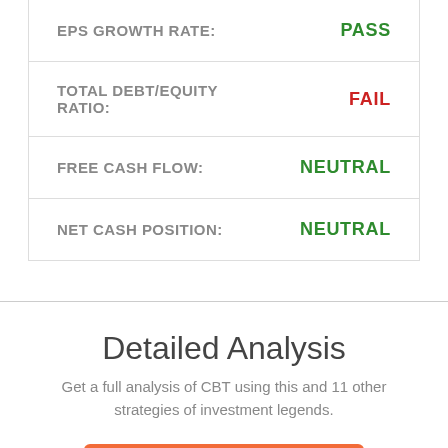| Criterion | Result |
| --- | --- |
| EPS GROWTH RATE: | PASS |
| TOTAL DEBT/EQUITY RATIO: | FAIL |
| FREE CASH FLOW: | NEUTRAL |
| NET CASH POSITION: | NEUTRAL |
Detailed Analysis
Get a full analysis of CBT using this and 11 other strategies of investment legends.